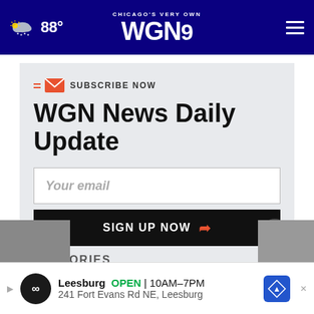CHICAGO'S VERY OWN WGN9 | 88°
WGN News Daily Update
SUBSCRIBE NOW
Your email
SIGN UP NOW
TOP STORIES
Leesburg OPEN | 10AM–7PM 241 Fort Evans Rd NE, Leesburg